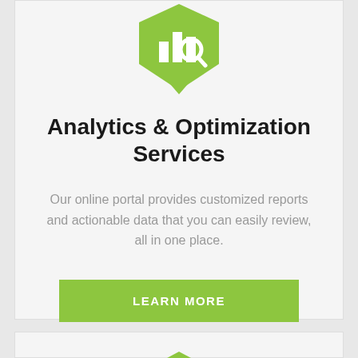[Figure (logo): Green shield-shaped badge with bar chart and magnifying glass icon]
Analytics & Optimization Services
Our online portal provides customized reports and actionable data that you can easily review, all in one place.
LEARN MORE
[Figure (logo): Green hexagon-shaped badge with piggy bank and dollar sign icon]